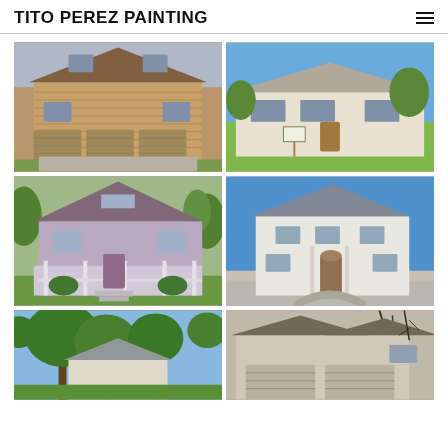TITO PEREZ PAINTING
[Figure (photo): Two-story brick house with three-car garage and landscaped front yard]
[Figure (photo): White stucco ranch-style house with green lawn and for-sale sign]
[Figure (photo): Victorian-style house painted purple/lavender with wrap-around porch]
[Figure (photo): Large white two-story house with curved driveway]
[Figure (photo): Partial view of house with large trees in foreground]
[Figure (photo): Partial view of house roofline and garage]